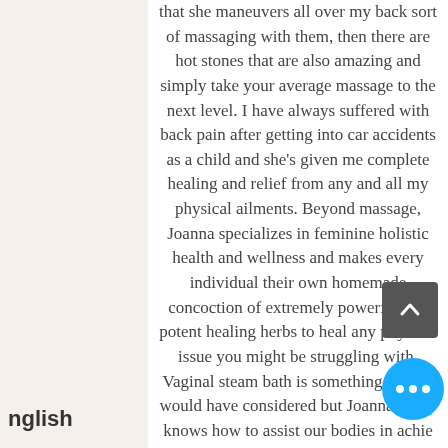that she maneuvers all over my back sort of massaging with them, then there are hot stones that are also amazing and simply take your average massage to the next level. I have always suffered with back pain after getting into car accidents as a child and she's given me complete healing and relief from any and all my physical ailments. Beyond massage, Joanna specializes in feminine holistic health and wellness and makes every individual their own homemade concoction of extremely powerful and potent healing herbs to heal any physical issue you might be struggling with. Vaginal steam bath is something i never would have considered but Joanna really knows how to assist our bodies in achieving ultimate health and wellness. The steam bath helps to combat hormonal